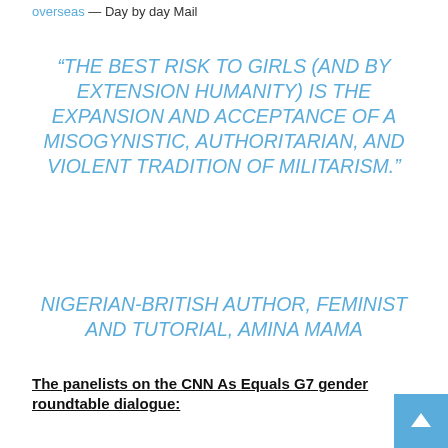overseas — Day by day Mail
“THE BEST RISK TO GIRLS (AND BY EXTENSION HUMANITY) IS THE EXPANSION AND ACCEPTANCE OF A MISOGYNISTIC, AUTHORITARIAN, AND VIOLENT TRADITION OF MILITARISM.”
NIGERIAN-BRITISH AUTHOR, FEMINIST AND TUTORIAL, AMINA MAMA
The panelists on the CNN As Equals G7 gender roundtable dialogue: